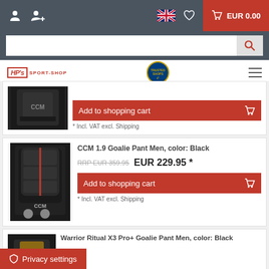HP's Sport-Shop navigation bar with cart EUR 0.00
[Figure (screenshot): CCM goalie pants (black) partial product image at top]
Add to shopping cart
* Incl. VAT excl. Shipping
CCM 1.9 Goalie Pant Men, color: Black
RRP EUR 359.95   EUR 229.95 *
Add to shopping cart
* Incl. VAT excl. Shipping
Warrior Ritual X3 Pro+ Goalie Pant Men, color: Black
Privacy settings